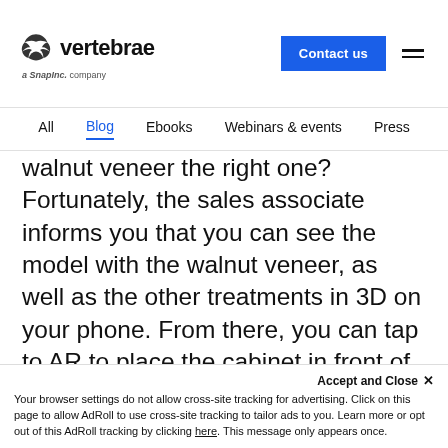vertebrae — a Snap Inc. company | Contact us
All  Blog  Ebooks  Webinars & events  Press
walnut veneer the right one? Fortunately, the sales associate informs you that you can see the model with the walnut veneer, as well as the other treatments in 3D on your phone. From there, you can tap to AR to place the cabinet in front of you to walk around it and explore it up close. Furthermore, if you're not entirely sure, you can view a similar model in walnut and place it next to the original one in the store via AR to gauge the difference in size and style. Still not entirely convinced? At home, you can place
Accept and Close ✕
Your browser settings do not allow cross-site tracking for advertising. Click on this page to allow AdRoll to use cross-site tracking to tailor ads to you. Learn more or opt out of this AdRoll tracking by clicking here. This message only appears once.